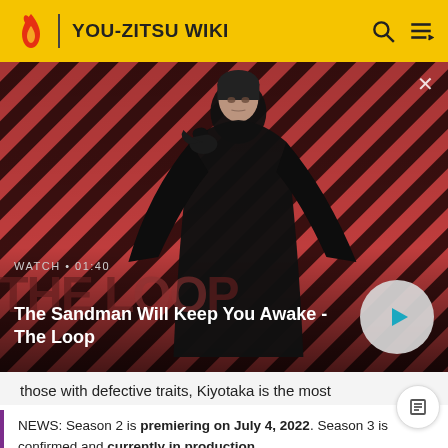YOU-ZITSU WIKI
[Figure (screenshot): Video thumbnail showing a dark figure with a raven on shoulder against diagonal red/pink striped background. Title: 'The Sandman Will Keep You Awake - The Loop'. Watch duration 01:40. Play button visible.]
those with defective traits, Kiyotaka is the most
NEWS: Season 2 is premiering on July 4, 2022. Season 3 is confirmed and currently in production. You can watch the PV here!!!